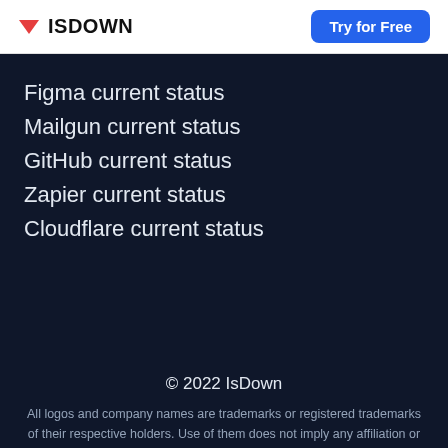ISDOWN | Try for Free
Figma current status
Mailgun current status
GitHub current status
Zapier current status
Cloudflare current status
© 2022 IsDown
All logos and company names are trademarks or registered trademarks of their respective holders. Use of them does not imply any affiliation or endorsement by them.